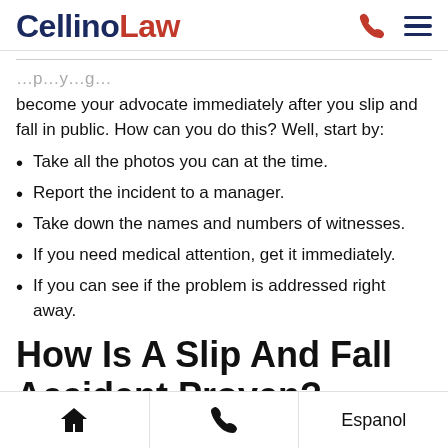CellinoLaw
become your advocate immediately after you slip and fall in public. How can you do this? Well, start by:
Take all the photos you can at the time.
Report the incident to a manager.
Take down the names and numbers of witnesses.
If you need medical attention, get it immediately.
If you can see if the problem is addressed right away.
How Is A Slip And Fall Accident Proven?
When it comes to proving a slip and fall accident, the
Home | Phone | Espanol